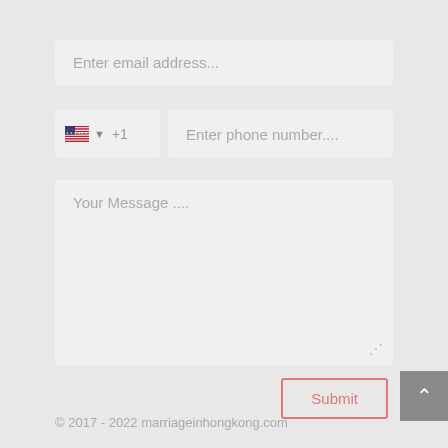[Figure (screenshot): Web contact form with email field, phone number field with US flag and +1 country code, message textarea, and a Submit button. Footer shows copyright 2017-2022 marriageinhongkong.com]
Enter email address...
+1   Enter phone number....
Your Message ....
Submit
© 2017 - 2022 marriageinhongkong.com